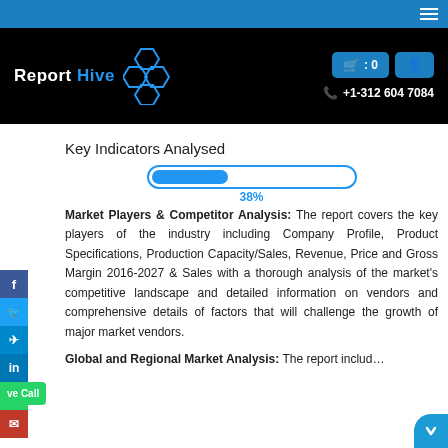Report Hive — Navigation header with logo, cart button (0), user button, phone +1-312 604 7084
Key Indicators Analysed
[Figure (infographic): A horizontal progress bar showing 38% completion, styled with a blue rounded rectangle border and filled blue inner bar.]
Market Players & Competitor Analysis: The report covers the key players of the industry including Company Profile, Product Specifications, Production Capacity/Sales, Revenue, Price and Gross Margin 2016-2027 & Sales with a thorough analysis of the market's competitive landscape and detailed information on vendors and comprehensive details of factors that will challenge the growth of major market vendors.
Global and Regional Market Analysis: The report includ...